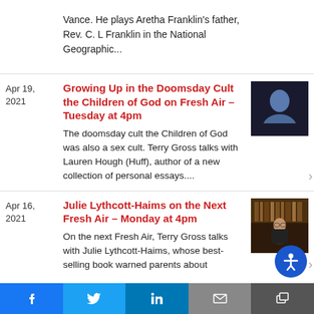Vance. He plays Aretha Franklin's father, Rev. C. L Franklin in the National Geographic...
Apr 19, 2021
Growing Up in the Doomsday Cult the Children of God on Fresh Air – Tuesday at 4pm
The doomsday cult the Children of God was also a sex cult. Terry Gross talks with Lauren Hough (Huff), author of a new collection of personal essays....
[Figure (photo): Photo of a young man smiling, dark background]
Apr 16, 2021
Julie Lythcott-Haims on the Next Fresh Air – Monday at 4pm
On the next Fresh Air, Terry Gross talks with Julie Lythcott-Haims, whose best-selling book warned parents about
[Figure (photo): Photo of Julie Lythcott-Haims, a woman in dark clothing standing in front of bookshelves]
f  |  Twitter  |  in  |  email  |  share